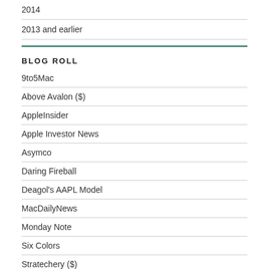2014
2013 and earlier
BLOG ROLL
9to5Mac
Above Avalon ($)
AppleInsider
Apple Investor News
Asymco
Daring Fireball
Deagol's AAPL Model
MacDailyNews
Monday Note
Six Colors
Stratechery ($)
Techpinions ($)